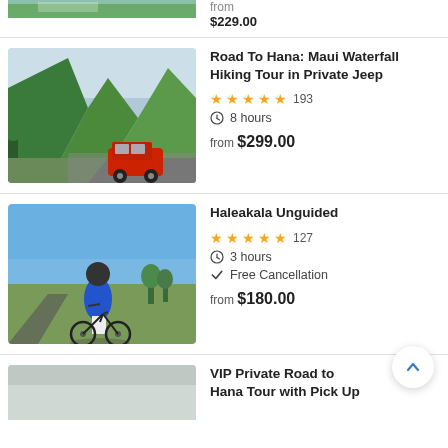[Figure (photo): Partial top image of a waterfall/nature scene cropped at the top]
from $229.00
[Figure (photo): Photo of lush green mountains and cliffs with a red Jeep on a road]
Road To Hana: Maui Waterfall Hiking Tour in Private Jeep
★★★★★ 193
⏱ 8 hours
from $299.00
[Figure (photo): Photo of a person in a blue hoodie with a bicycle at Haleakala with panoramic background]
Haleakala Unguided
★★★★★ 127
⏱ 3 hours
✓ Free Cancellation
from $180.00
VIP Private Road to Hana Tour with Pick Up